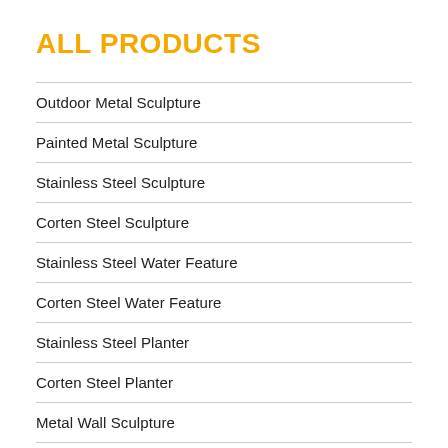ALL PRODUCTS
Outdoor Metal Sculpture
Painted Metal Sculpture
Stainless Steel Sculpture
Corten Steel Sculpture
Stainless Steel Water Feature
Corten Steel Water Feature
Stainless Steel Planter
Corten Steel Planter
Metal Wall Sculpture
Corten Steel Fire Pit